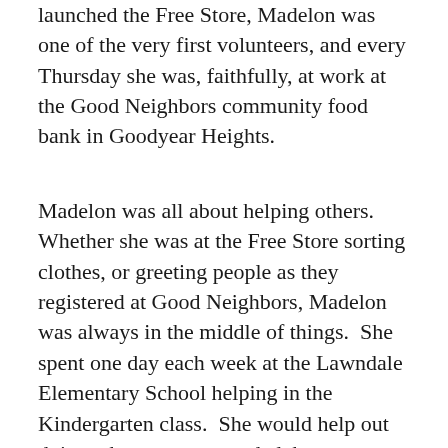launched the Free Store, Madelon was one of the very first volunteers, and every Thursday she was, faithfully, at work at the Good Neighbors community food bank in Goodyear Heights.
Madelon was all about helping others.  Whether she was at the Free Store sorting clothes, or greeting people as they registered at Good Neighbors, Madelon was always in the middle of things.  She spent one day each week at the Lawndale Elementary School helping in the Kindergarten class.  She would help out doing whatever was needed, but most likely would be found reading to the kids.  She was affectionately known as Gramma Madelon.  And with that ongoing relationship with the